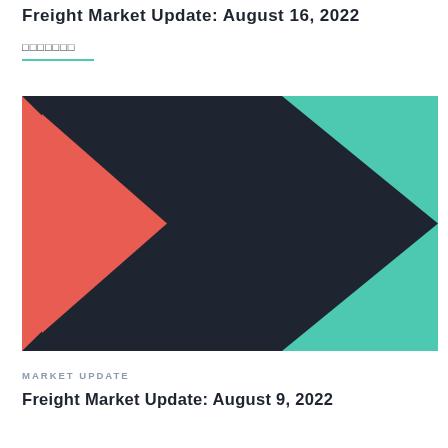Freight Market Update: August 16, 2022
□□□□□□□
[Figure (illustration): Decorative graphic with three chevron/arrow shapes: a red triangle pointing right on the left, a large dark navy chevron/arrow in the center pointing right, and a teal/mint green background chevron on the right.]
MARKET UPDATE
Freight Market Update: August 9, 2022